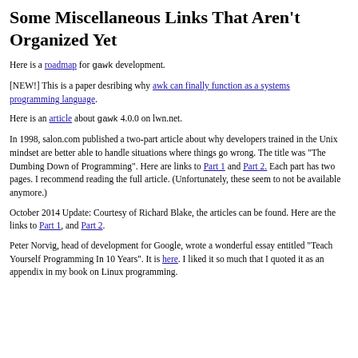Some Miscellaneous Links That Aren't Organized Yet
Here is a roadmap for gawk development.
[NEW!] This is a paper desribing why awk can finally function as a systems programming language.
Here is an article about gawk 4.0.0 on lwn.net.
In 1998, salon.com published a two-part article about why developers trained in the Unix mindset are better able to handle situations where things go wrong. The title was "The Dumbing Down of Programming".  Here are links to Part 1 and Part 2. Each part has two pages. I recommend reading the full article. (Unfortunately, these seem to not be available anymore.)
October 2014 Update: Courtesy of Richard Blake, the articles can be found. Here are the links to Part 1, and Part 2.
Peter Norvig, head of development for Google, wrote a wonderful essay entitled "Teach Yourself Programming In 10 Years".  It is here.  I liked it so much that I quoted it as an appendix in my book on Linux programming.